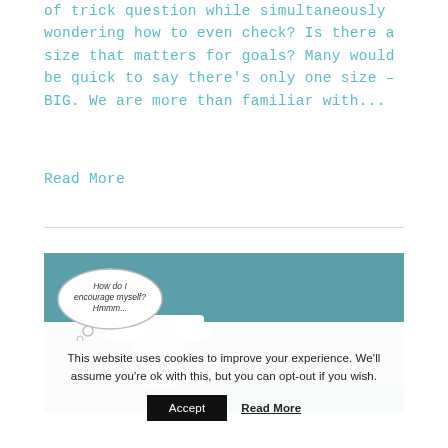of trick question while simultaneously wondering how to even check? Is there a size that matters for goals? Many would be quick to say there's only one size – BIG. We are more than familiar with...
Read More
[Figure (photo): A person wearing a white cap, with a thought bubble saying 'How do I encourage myself? Hmmm...' on a teal background]
This website uses cookies to improve your experience. We'll assume you're ok with this, but you can opt-out if you wish.
Accept   Read More